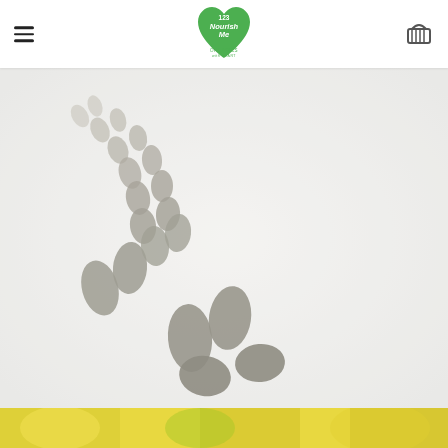123 Nourish Me — Organics with Heart (logo, hamburger menu, basket icon)
[Figure (photo): Footprints in white sand or snow, trailing from upper-left to lower-center of the image in a curving path. The surface is bright white and powdery.]
[Figure (photo): Bottom strip showing a partial colorful image, appears to be fruits or organic produce in yellow/green tones.]